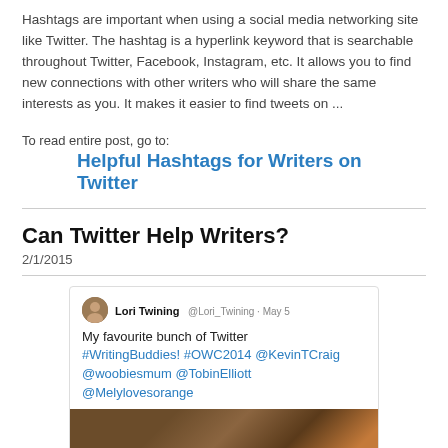Hashtags are important when using a social media networking site like Twitter. The hashtag is a hyperlink keyword that is searchable throughout Twitter, Facebook, Instagram, etc. It allows you to find new connections with other writers who will share the same interests as you. It makes it easier to find tweets on ...
To read entire post, go to:
Helpful Hashtags for Writers on Twitter
Can Twitter Help Writers?
2/1/2015
[Figure (screenshot): A tweet screenshot from Lori Twining (@Lori_Twining · May 5) reading: My favourite bunch of Twitter #WritingBuddies! #OWC2014 @KevinTCraig @woobiesmum @TobinElliott @Melylovesorange, with a photo of a group of people below.]